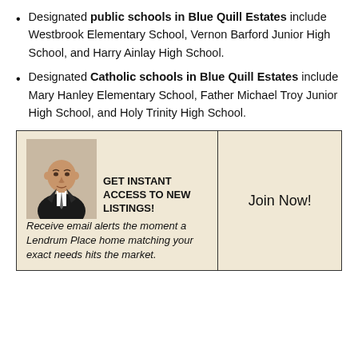Designated public schools in Blue Quill Estates include Westbrook Elementary School, Vernon Barford Junior High School, and Harry Ainlay High School.
Designated Catholic schools in Blue Quill Estates include Mary Hanley Elementary School, Father Michael Troy Junior High School, and Holy Trinity High School.
[Figure (infographic): Promotional box with headshot of a bald man in a suit. Left cell contains: GET INSTANT ACCESS TO NEW LISTINGS! Receive email alerts the moment a Lendrum Place home matching your exact needs hits the market. Right cell contains: Join Now!]